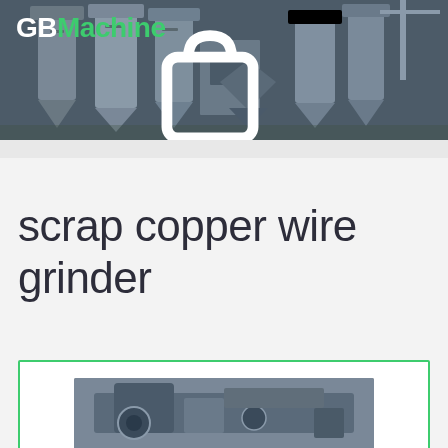[Figure (photo): Industrial machinery facility header banner showing large metal silos, hoppers, and processing equipment with a dark bluish-grey toned industrial plant background. GBMachine logo overlaid in top-left corner.]
scrap copper wire grinder
[Figure (photo): Partial view of scrap copper wire grinder machinery in a product card with green border, bottom portion visible]